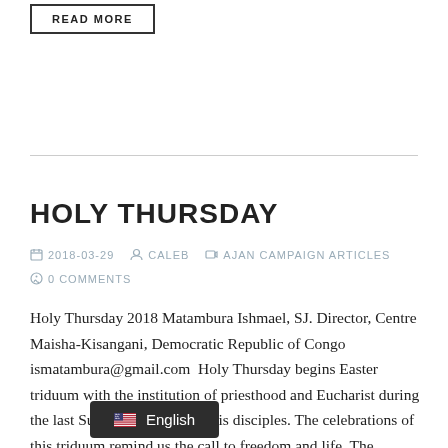READ MORE
HOLY THURSDAY
2018-03-29  CALEB  AJAN CAMPAIGN ARTICLES  0 COMMENTS
Holy Thursday 2018 Matambura Ishmael, SJ. Director, Centre Maisha-Kisangani, Democratic Republic of Congo ismatambura@gmail.com  Holy Thursday begins Easter triduum with the institution of priesthood and Eucharist during the last Supper of Jesus with his disciples. The celebrations of this triduum remind us the call to freedom and life. The Synoptics,
English